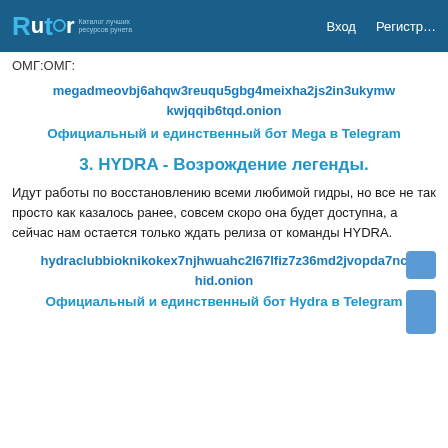Rutor | Вход | Регистр…
ОМГ:ОМГ:
megadmeovbj6ahqw3reuqu5gbg4meixha2js2in3ukymwkwjqqib6tqd.onion
Официальный и единственный бот Mega в Telegram
3. HYDRA - Возрождение легенды.
Идут работы по восстановлению всеми любимой гидры, но все не так просто как казалось ранее, совсем скоро она будет доступна, а сейчас нам остается только ждать релиза от команды HYDRA.
hydraclubbioknikokex7njhwuahc2l67lfiz7z36md2jvopda7nchid.onion
Официальный и единственный бот Hydra в Telegram